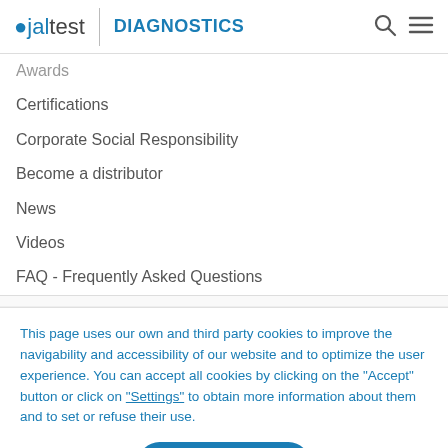jaltest DIAGNOSTICS
Awards
Certifications
Corporate Social Responsibility
Become a distributor
News
Videos
FAQ - Frequently Asked Questions
This page uses our own and third party cookies to improve the navigability and accessibility of our website and to optimize the user experience. You can accept all cookies by clicking on the "Accept" button or click on "Settings" to obtain more information about them and to set or refuse their use.